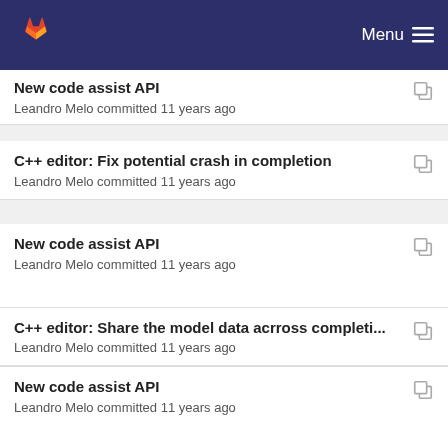GitLab — Menu
New code assist API
Leandro Melo committed 11 years ago
C++ editor: Fix potential crash in completion
Leandro Melo committed 11 years ago
New code assist API
Leandro Melo committed 11 years ago
C++ editor: Share the model data acrross completi...
Leandro Melo committed 11 years ago
New code assist API
Leandro Melo committed 11 years ago